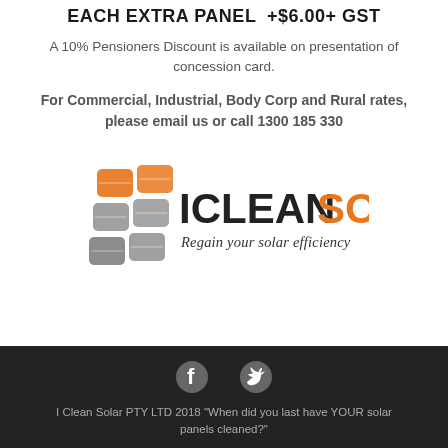EACH EXTRA PANEL  +$6.00+ GST
A 10% Pensioners Discount is available on presentation of concession card.
For Commercial, Industrial, Body Corp and Rural rates, please email us or call 1300 185 330
[Figure (logo): IClean Solar logo with solar panel graphic and tagline 'Regain your solar efficiency']
I Clean Solar PTY LTD 2018 "When did you last have YOUR solar panels cleaned?"